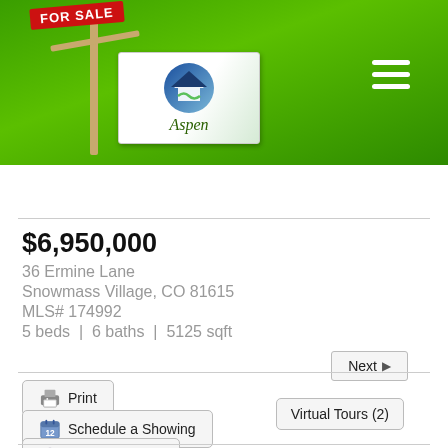[Figure (logo): Aspen real estate logo with FOR SALE sign on green header background with hamburger menu icon]
Next ▶
$6,950,000
36 Ermine Lane
Snowmass Village, CO 81615
MLS# 174992
5 beds  |  6 baths  |  5125 sqft
Print
Virtual Tours (2)
Schedule a Showing
Ask a Question